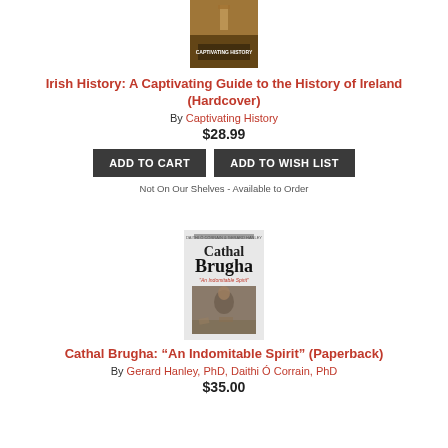[Figure (photo): Book cover for Irish History: A Captivating Guide to the History of Ireland, showing a brown/sepia landscape with text overlay]
Irish History: A Captivating Guide to the History of Ireland (Hardcover)
By Captivating History
$28.99
ADD TO CART
ADD TO WISH LIST
Not On Our Shelves - Available to Order
[Figure (photo): Book cover for Cathal Brugha: An Indomitable Spirit, showing black text 'Cathal Brugha' with subtitle and a historical photograph of a man among rubble]
Cathal Brugha: “An Indomitable Spirit” (Paperback)
By Gerard Hanley, PhD, Daithi Ó Corrain, PhD
$35.00